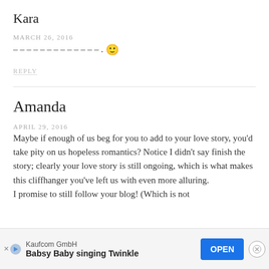Kara
MARCH 26, 2016
– – – – – – – – – – – – – . 🙂
REPLY
Amanda
APRIL 29, 2016
Maybe if enough of us beg for you to add to your love story, you'd take pity on us hopeless romantics? Notice I didn't say finish the story; clearly your love story is still ongoing, which is what makes this cliffhanger you've left us with even more alluring.
I promise to still follow your blog! (Which is not
[Figure (other): Advertisement banner: Kaufcom GmbH - Babsy Baby singing Twinkle, with OPEN button and close button]